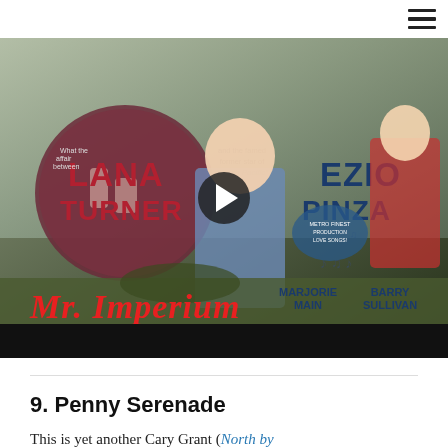[Figure (screenshot): Movie poster / video thumbnail for 'Mr. Imperium' featuring Lana Turner, Ezio Pinza, Marjorie Main, Barry Sullivan, with a play button overlay and dark bottom bar.]
9. Penny Serenade
This is yet another Cary Grant (North by